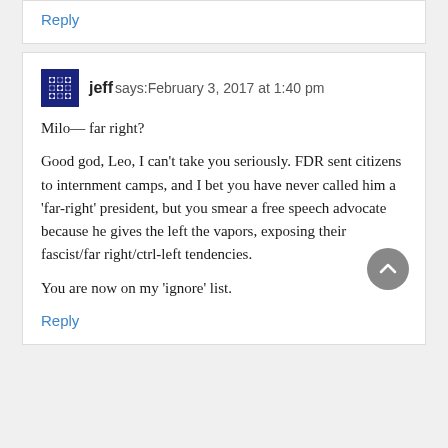Reply
jeff says: February 3, 2017 at 1:40 pm
Milo— far right?
Good god, Leo, I can't take you seriously. FDR sent citizens to internment camps, and I bet you have never called him a 'far-right' president, but you smear a free speech advocate because he gives the left the vapors, exposing their fascist/far right/ctrl-left tendencies.
You are now on my 'ignore' list.
Reply